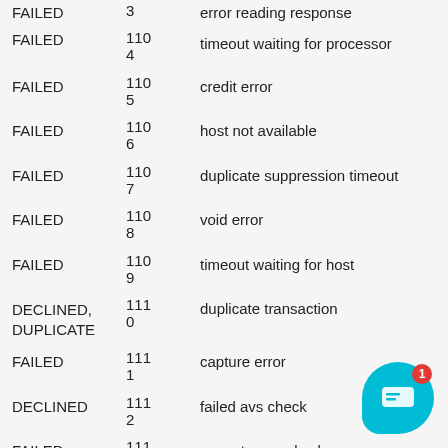| Status | Code | Description |
| --- | --- | --- |
| FAILED | 3 | error reading response |
| FAILED | 1104 | timeout waiting for processor |
| FAILED | 1105 | credit error |
| FAILED | 1106 | host not available |
| FAILED | 1107 | duplicate suppression timeout |
| FAILED | 1108 | void error |
| FAILED | 1109 | timeout waiting for host |
| DECLINED, DUPLICATE | 1110 | duplicate transaction |
| FAILED | 1111 | capture error |
| DECLINED | 1112 | failed avs check |
| FAILED | 1113 | cannot exceed sales cap |
[Figure (illustration): Chat support bubble icon with notification badge showing 1]